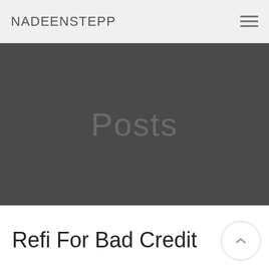NADEENSTEPP
[Figure (screenshot): Dark gray hero banner section with the watermark text 'Posts' centered in a slightly lighter gray color]
Refi For Bad Credit